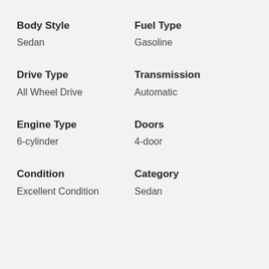Body Style
Sedan
Fuel Type
Gasoline
Drive Type
All Wheel Drive
Transmission
Automatic
Engine Type
6-cylinder
Doors
4-door
Condition
Excellent Condition
Category
Sedan